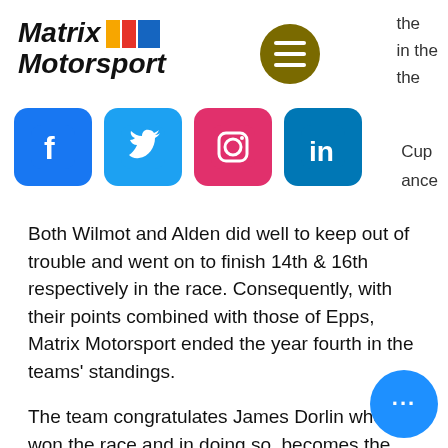[Figure (logo): Matrix Motorsport logo with coloured squares]
[Figure (other): Hamburger/menu button circle (dark gold)]
the
in the
the
[Figure (other): Social media icons: Facebook, Twitter, Instagram, LinkedIn]
Cup
ance
Both Wilmot and Alden did well to keep out of trouble and went on to finish 14th & 16th respectively in the race. Consequently, with their points combined with those of Epps, Matrix Motorsport ended the year fourth in the teams' standings.
The team congratulates James Dorlin who won the race and in doing so, becomes the 2018 Renault UK Clio Cup Champion pending an outstanding appeal to the MSA National Court by Paul Rivett. Congratulations also to Team Pyro for winning the Teams' Championship.
[Figure (other): Blue circle more/options button with three dots]